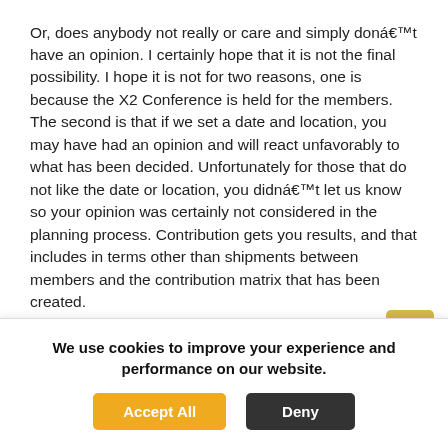Or, does anybody not really or care and simply don't have an opinion. I certainly hope that it is not the final possibility. I hope it is not for two reasons, one is because the X2 Conference is held for the members. The second is that if we set a date and location, you may have had an opinion and will react unfavorably to what has been decided. Unfortunately for those that do not like the date or location, you didn't let us know so your opinion was certainly not considered in the planning process. Contribution gets you results, and that includes in terms other than shipments between members and the contribution matrix that has been created.
We want our members to be actively involved in the network. We hope to see responses from each member on both of these subjects. The surveys aren't for our health or entertainment, they're for your benefit.
We use cookies to improve your experience and performance on our website.